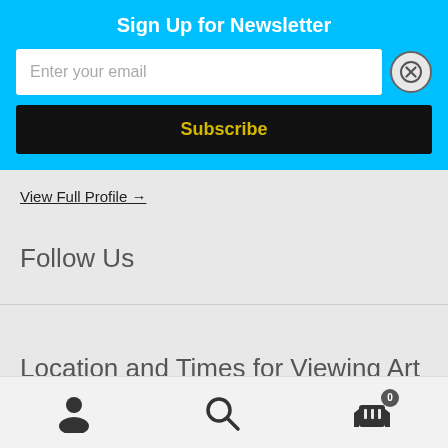Sign Up for Newsletter
Enter your email
Subscribe
View Full Profile →
Follow Us
Location and Times for Viewing Art